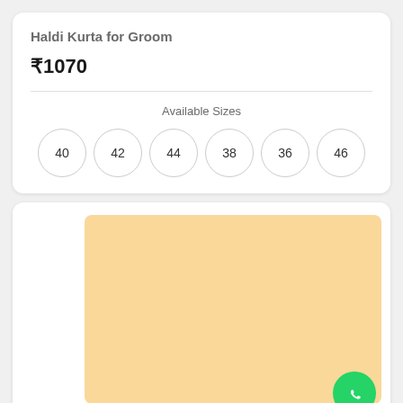Haldi Kurta for Groom
₹1070
Available Sizes
40
42
44
38
36
46
[Figure (photo): Light peach/cream colored product image placeholder for Haldi Kurta for Groom]